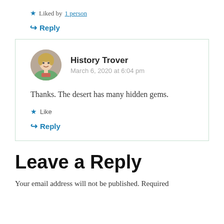★ Liked by 1 person
↪ Reply
History Trover
March 6, 2020 at 6:04 pm
Thanks. The desert has many hidden gems.
★ Like
↪ Reply
Leave a Reply
Your email address will not be published. Required